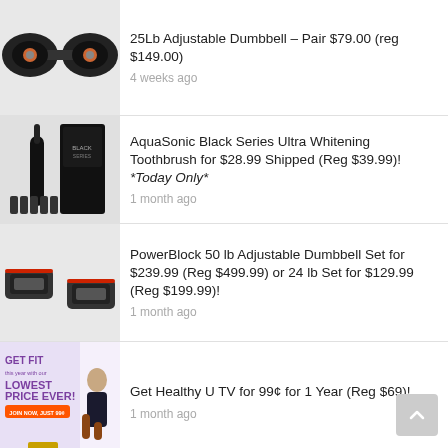25Lb Adjustable Dumbbell - Pair $79.00 (reg $149.00)
4 weeks ago
AquaSonic Black Series Ultra Whitening Toothbrush for $28.99 Shipped (Reg $39.99)! *Today Only*
1 month ago
PowerBlock 50 lb Adjustable Dumbbell Set for $239.99 (Reg $499.99) or 24 lb Set for $129.99 (Reg $199.99)!
1 month ago
Get Healthy U TV for 99¢ for 1 Year (Reg $69)!
1 month ago
OLLY Immunity Sleep + Elderberry Melatonin Gummy, 30 Day Supply (60 Gummies) for only $5.49 Shipped (Reg. $22.75)!